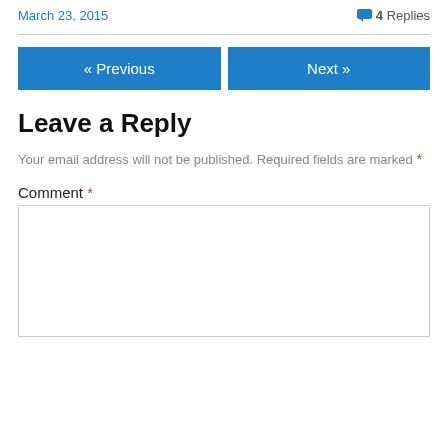March 23, 2015
4 Replies
« Previous
Next »
Leave a Reply
Your email address will not be published. Required fields are marked *
Comment *